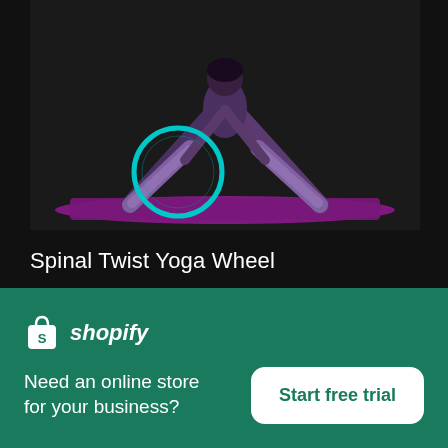[Figure (photo): Person doing yoga pose with a yoga wheel (teal circle) on a purple mat against a dark background. Person wearing patterned leggings, bending forward in a wide-leg stretch.]
Spinal Twist Yoga Wheel
High resolution download ↓
[Figure (photo): Partial view of another product image strip, grey/silver tones.]
[Figure (logo): Shopify logo - white shopping bag icon with S, followed by italic 'shopify' text in white]
Need an online store for your business?
Start free trial